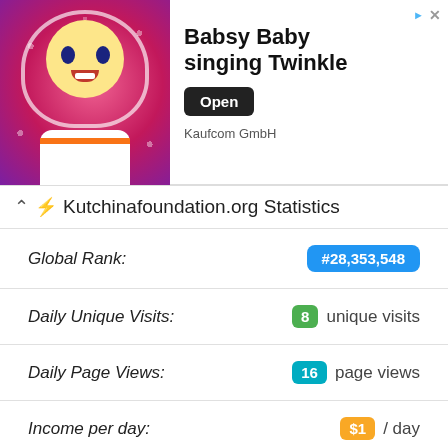[Figure (photo): Advertisement banner for Babsy Baby singing Twinkle app by Kaufcom GmbH, showing a cartoon baby on a pink background, with an Open button]
Kutchinafoundation.org Statistics
| Metric | Value |
| --- | --- |
| Global Rank: | #28,353,548 |
| Daily Unique Visits: | 8 unique visits |
| Daily Page Views: | 16 page views |
| Income per day: | $1 / day |
| Estimated Value: | $30 worth |
[Figure (map): Partial world map preview at the bottom of the page with a zoom-in (+) button]